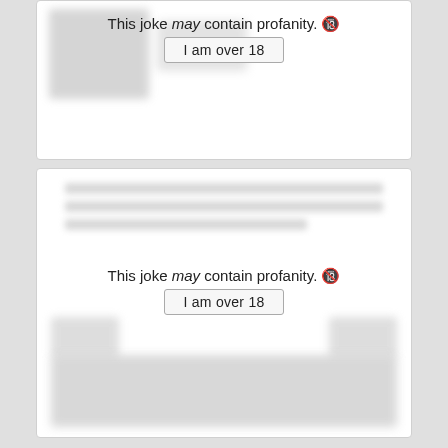[Figure (screenshot): Top card with blurred content, text 'This joke may contain profanity.' with 'I am over 18' button]
This joke may contain profanity. 🔞
I am over 18
[Figure (screenshot): Bottom card with blurred content, text 'This joke may contain profanity.' with 'I am over 18' button]
This joke may contain profanity. 🔞
I am over 18